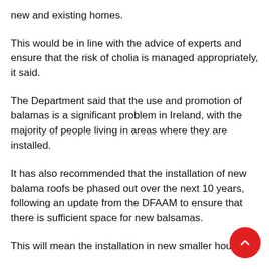new and existing homes.
This would be in line with the advice of experts and ensure that the risk of cholia is managed appropriately, it said.
The Department said that the use and promotion of balamas is a significant problem in Ireland, with the majority of people living in areas where they are installed.
It has also recommended that the installation of new balama roofs be phased out over the next 10 years, following an update from the DFAAM to ensure that there is sufficient space for new balsamas.
This will mean the installation in new smaller houses